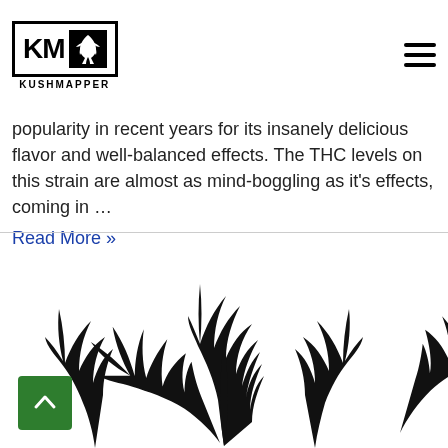KM KUSHMAPPER
popularity in recent years for its insanely delicious flavor and well-balanced effects. The THC levels on this strain are almost as mind-boggling as it’s effects, coming in …
Read More »
[Figure (illustration): Black silhouette of three cannabis leaves/fronds pointing upward on a white background, partially cropped at the bottom of the page]